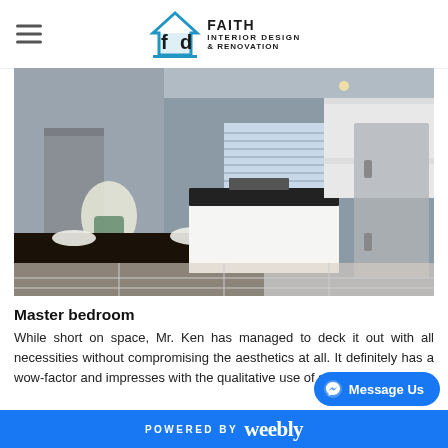Faith Interior Design & Renovation — logo and navigation header
[Figure (photo): Interior photo of a modern open-plan kitchen and dining area. A dark dining table with white flowers in a vase is in the foreground. The kitchen has white cabinetry, a dark countertop island, and a stainless steel refrigerator on the right. Venetian blinds cover a window in the background.]
Master bedroom
While short on space, Mr. Ken has managed to deck it out with all necessities without compromising the aesthetics at all. It definitely has a wow-factor and impresses with the qualitative use of space.
POWERED BY weebly